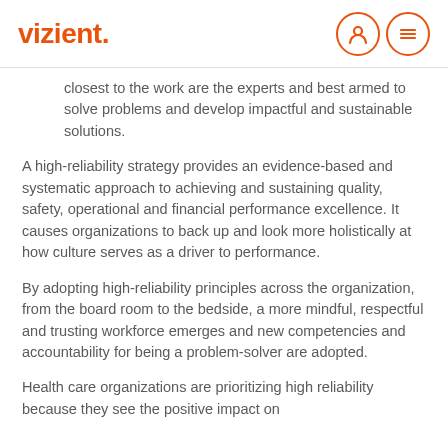vizient.
closest to the work are the experts and best armed to solve problems and develop impactful and sustainable solutions.
A high-reliability strategy provides an evidence-based and systematic approach to achieving and sustaining quality, safety, operational and financial performance excellence. It causes organizations to back up and look more holistically at how culture serves as a driver to performance.
By adopting high-reliability principles across the organization, from the board room to the bedside, a more mindful, respectful and trusting workforce emerges and new competencies and accountability for being a problem-solver are adopted.
Health care organizations are prioritizing high reliability because they see the positive impact on